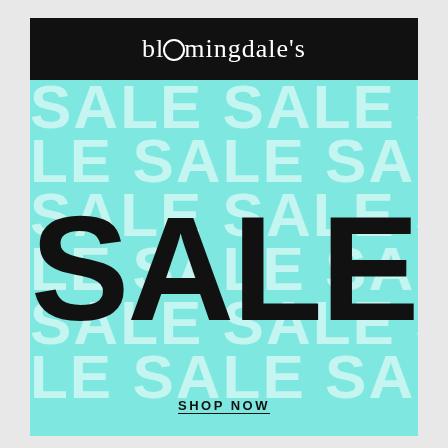bloomingdale's
[Figure (illustration): Bloomingdale's sale promotional banner. Aqua/teal background covered with repeating 'SALE' text in white/light color at various sizes. Large bold black 'SALE' text centered prominently in the foreground. 'SHOP NOW' underlined text at the bottom.]
SALE
SHOP NOW